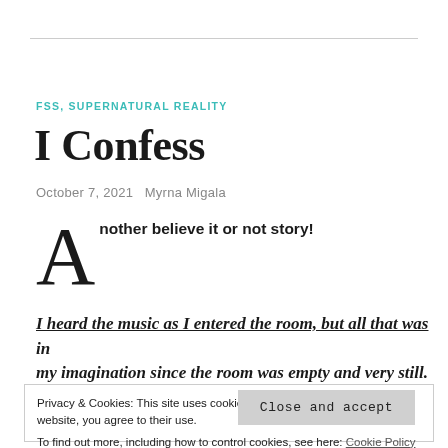FSS, SUPERNATURAL REALITY
I Confess
October 7, 2021   Myrna Migala
Another believe it or not story!
I heard the music as I entered the room, but all that was in my imagination since the room was empty and very still. I
Privacy & Cookies: This site uses cookies. By continuing to use this website, you agree to their use.
To find out more, including how to control cookies, see here: Cookie Policy
Close and accept